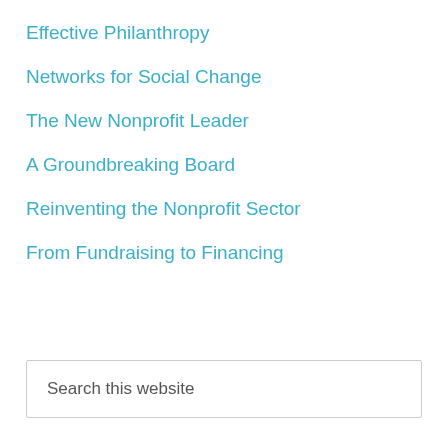Effective Philanthropy
Networks for Social Change
The New Nonprofit Leader
A Groundbreaking Board
Reinventing the Nonprofit Sector
From Fundraising to Financing
Search this website